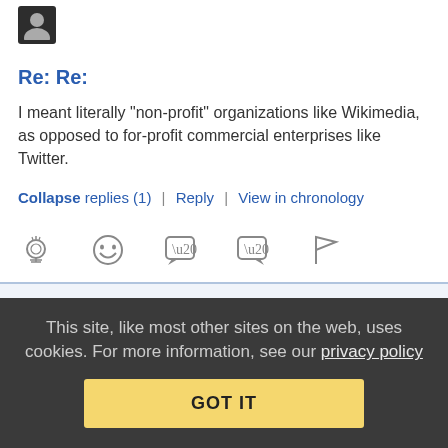[Figure (illustration): User avatar silhouette icon at top left]
Re: Re:
I meant literally "non-profit" organizations like Wikimedia, as opposed to for-profit commercial enterprises like Twitter.
Collapse replies (1) | Reply | View in chronology
[Figure (illustration): Row of five icon buttons: lightbulb, laughing face, open-quote speech bubble, close-quote speech bubble, flag]
[Figure (illustration): Reply thread badge showing chat icon and [3]]
[Figure (illustration): User avatar silhouette for next commenter]
This site, like most other sites on the web, uses cookies. For more information, see our privacy policy
GOT IT